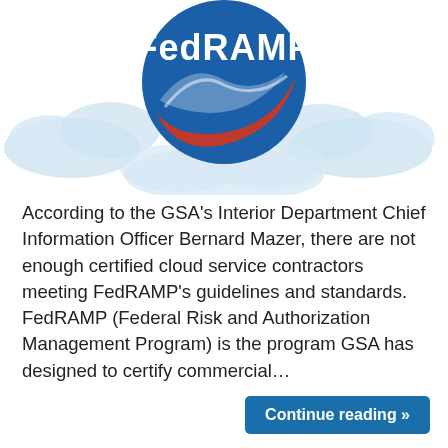[Figure (logo): FedRAMP logo with blue shield containing red and blue swooshes and the text 'FedRAMP' with 'SM' superscript, on a background of light blue cloud illustrations]
According to the GSA's Interior Department Chief Information Officer Bernard Mazer, there are not enough certified cloud service contractors meeting FedRAMP's guidelines and standards.  FedRAMP (Federal Risk and Authorization Management Program) is the program GSA has designed to certify commercial…
Continue reading »